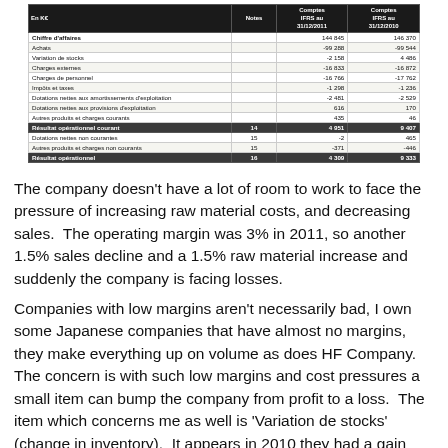| En K€ | Notes | Comptes IFRS au 31/12/2011 | Comptes IFRS au 31/12/2010 |
| --- | --- | --- | --- |
| Chiffre d'affaires |  | 144 845 | 146 370 |
| Achats |  | -99 288 | -99 544 |
| Variation de stocks |  | -2 158 | 4 486 |
| Charges externes |  | -16 833 | -16 872 |
| Charges de personnel |  | -16 766 | -17 762 |
| Impôts et taxes |  | -1 298 | -1 236 |
| Dotations nettes aux amortissements d'exploitation |  | -2 481 | -2 529 |
| Dotations nettes aux provisions d'exploitation |  | 616 | 170 |
| Autres produits et charges courants |  | 435 | 46 |
| Résultat opérationnel courant | 14 | 4 951 | 9 407 |
| Dotations nettes non courantes | 15 | -2 | 465 |
| Autres produits et charges non courants | 15 | -371 | -446 |
| Résultat opérationnel | 16 | 4 309 | 9 333 |
The company doesn't have a lot of room to work to face the pressure of increasing raw material costs, and decreasing sales.  The operating margin was 3% in 2011, so another 1.5% sales decline and a 1.5% raw material increase and suddenly the company is facing losses.
Companies with low margins aren't necessarily bad, I own some Japanese companies that have almost no margins, they make everything up on volume as does HF Company.  The concern is with such low margins and cost pressures a small item can bump the company from profit to a loss.  The item which concerns me as well is 'Variation de stocks' (change in inventory).  It appears in 2010 they had a gain from inventory which really accounted for most of the difference in profit between the years.  Unfortunately profit